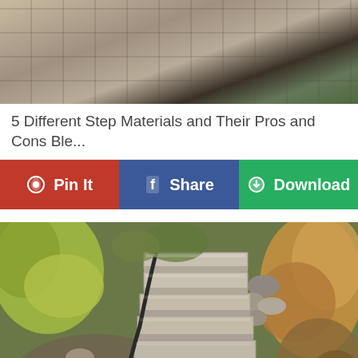[Figure (photo): Aerial view of stone/tile patio with plants and mulch in upper right corner]
5 Different Step Materials and Their Pros and Cons Ble...
Pin It | Share | Download
[Figure (photo): Outdoor concrete garden stairs with metal railing, surrounded by rocks and green/yellow foliage]